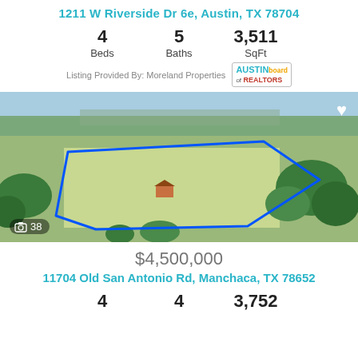1211 W Riverside Dr 6e, Austin, TX 78704
4 Beds   5 Baths   3,511 SqFt
Listing Provided By: Moreland Properties
[Figure (photo): Aerial drone photo of a large open land parcel in Texas with blue boundary polygon, green fields, sparse trees, and a small structure in center. Photo count badge shows 38.]
$4,500,000
11704 Old San Antonio Rd, Manchaca, TX 78652
4 Beds   4 Baths   3,752 SqFt